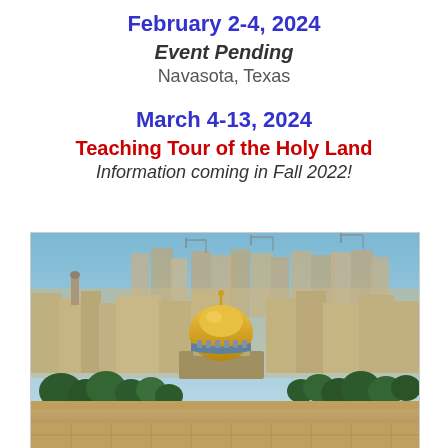February 2-4, 2024
Event Pending
Navasota, Texas
March 4-13, 2024
Teaching Tour of the Holy Land
Information coming in Fall 2022!
[Figure (photo): Panoramic view of Jerusalem skyline featuring the Dome of the Rock with its golden dome in the foreground, surrounded by dense urban buildings, trees, and construction cranes in the background under a blue sky.]